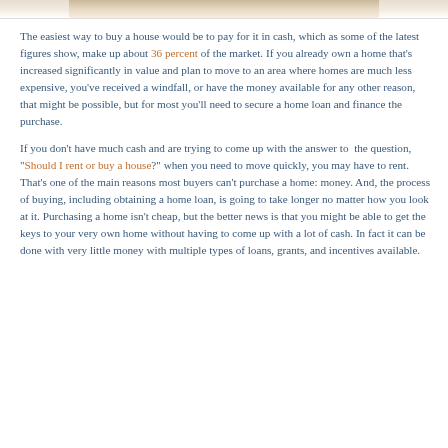[Figure (photo): Partial view of a house photo at the top of the page, cropped]
The easiest way to buy a house would be to pay for it in cash, which as some of the latest figures show, make up about 36 percent of the market. If you already own a home that's increased significantly in value and plan to move to an area where homes are much less expensive, you've received a windfall, or have the money available for any other reason, that might be possible, but for most you'll need to secure a home loan and finance the purchase.
If you don't have much cash and are trying to come up with the answer to the question, "Should I rent or buy a house?" when you need to move quickly, you may have to rent. That's one of the main reasons most buyers can't purchase a home: money. And, the process of buying, including obtaining a home loan, is going to take longer no matter how you look at it. Purchasing a home isn't cheap, but the better news is that you might be able to get the keys to your very own home without having to come up with a lot of cash. In fact it can be done with very little money with multiple types of loans, grants, and incentives available.